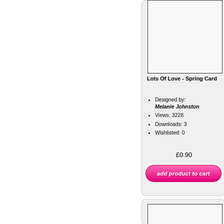[Figure (other): Product thumbnail image box for greeting card - white/light gray rectangle with border]
Lots Of Love - Spring Card
Designed by: Melanie Johnston
Views: 3228
Downloads: 3
Wishlisted: 0
£0.90
add product to cart
[Figure (other): Second product thumbnail image box - partial view at bottom of page]